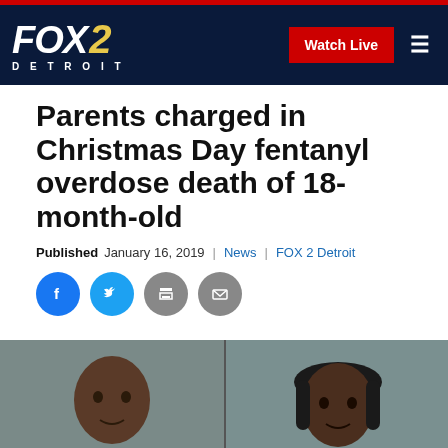FOX 2 DETROIT | Watch Live
Parents charged in Christmas Day fentanyl overdose death of 18-month-old
Published January 16, 2019  |  News  |  FOX 2 Detroit
[Figure (other): Social share icons: Facebook, Twitter, Print, Email]
[Figure (photo): Mugshot photos of two individuals, side by side, against a grey background]